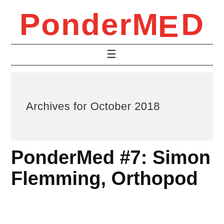[Figure (logo): PonderMed logo in bold red text with stylized lettering]
≡
Archives for October 2018
PonderMed #7: Simon Flemming, Orthopod